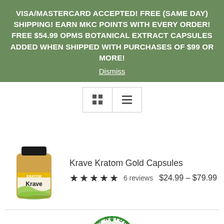VISA/MASTERCARD ACCEPTED! FREE (SAME DAY) SHIPPING! EARN MKC POINTS WITH EVERY ORDER! FREE $54.99 OPMS BOTANICAL EXTRACT CAPSULES ADDED WHEN SHIPPED WITH PURCHASES OF $99 OR MORE!
Dismiss
[Figure (screenshot): View toggle buttons: grid view and list view]
[Figure (photo): Krave Kratom supplement bottle with green wave label]
Krave Kratom Gold Capsules
★★★★★ 6 reviews   $24.99 – $79.99
[Figure (logo): 100% Natural Fresh circular green stamp logo]